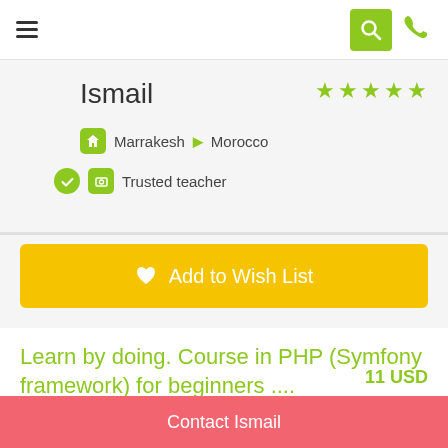Navigation bar with hamburger menu, search icon, and phone icon
Ismail
★★★★★
Marrakesh ▶ Morocco
Trusted teacher
Add to Wish List
Learn by doing. Course in PHP (Symfony framework) for beginners ....
11 USD
Contact Ismail